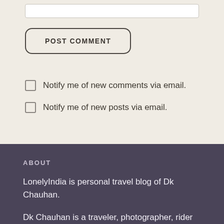[input bar]
POST COMMENT
Notify me of new comments via email.
Notify me of new posts via email.
ABOUT
LonelyIndia is personal travel blog of Dk Chauhan.
Dk Chauhan is a traveler, photographer, rider and A TEDX speaker. He has traveled to 24 countries on 5 motorcycle covering 73,000 kilometers so far